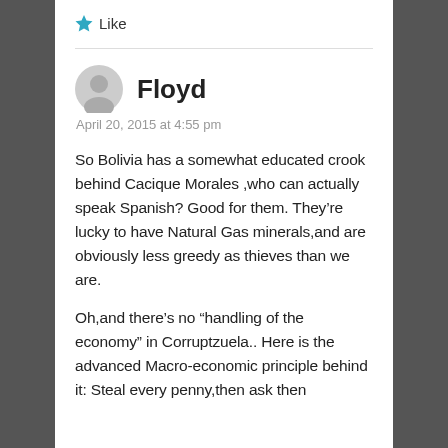Like
Floyd
April 20, 2015 at 4:55 pm
So Bolivia has a somewhat educated crook behind Cacique Morales ,who can actually speak Spanish? Good for them. They're lucky to have Natural Gas minerals,and are obviously less greedy as thieves than we are.
Oh,and there's no “handling of the economy” in Corruptzuela.. Here is the advanced Macro-economic principle behind it: Steal every penny,then ask then